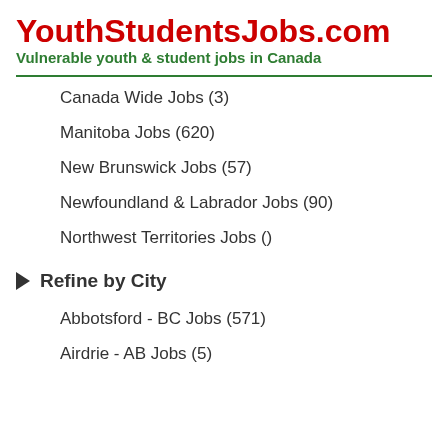YouthStudentsJobs.com
Vulnerable youth & student jobs in Canada
Canada Wide Jobs (3)
Manitoba Jobs (620)
New Brunswick Jobs (57)
Newfoundland & Labrador Jobs (90)
Northwest Territories Jobs ()
Refine by City
Abbotsford - BC Jobs (571)
Airdrie - AB Jobs (5)